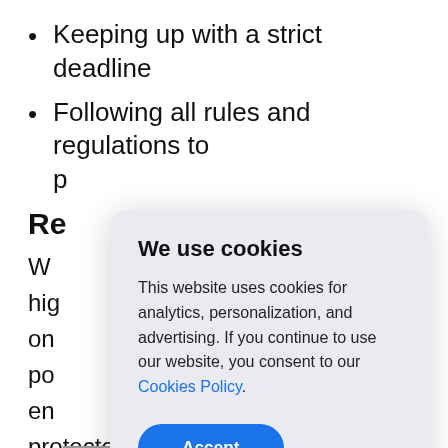Keeping up with a strict deadline
Following all rules and regulations to p
Re
W
hig
on
po
en
protected and the app is compliant
with regulations
We use cookies
This website uses cookies for analytics, personalization, and advertising. If you continue to use our website, you consent to our Cookies Policy.
Accept